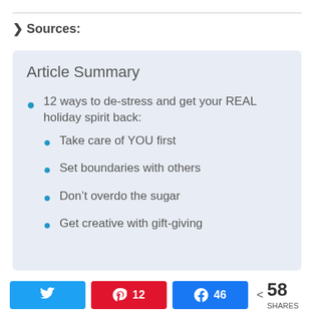▾ Sources:
Article Summary
12 ways to de-stress and get your REAL holiday spirit back:
Take care of YOU first
Set boundaries with others
Don't overdo the sugar
Get creative with gift-giving
Twitter share | Pinterest 12 | Facebook 46 | < 58 SHARES